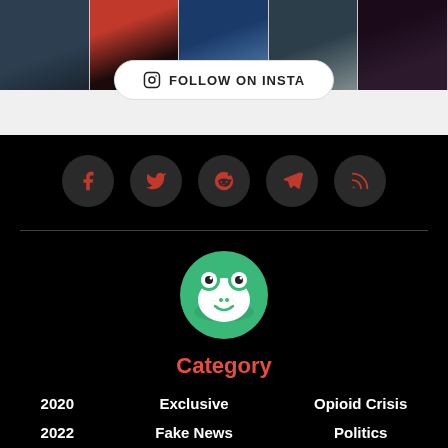[Figure (photo): Photo strip of news personalities at top, with FOLLOW ON INSTA button overlay]
[Figure (infographic): Social media icon buttons: Facebook, Twitter, Reddit, Telegram, RSS feed - dark circles with red icons on black background]
[Figure (logo): Green circular frog logo/mascot icon]
Category
2020
Exclusive
Opioid Crisis
2022
Fake News
Politics